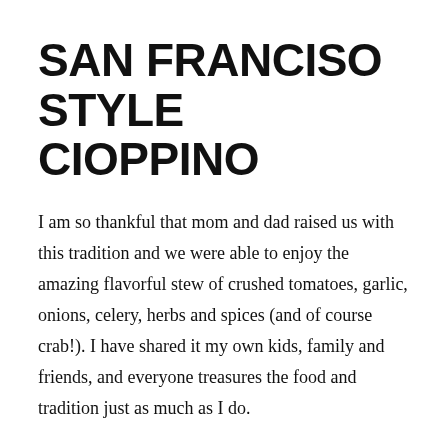SAN FRANCISO STYLE CIOPPINO
I am so thankful that mom and dad raised us with this tradition and we were able to enjoy the amazing flavorful stew of crushed tomatoes, garlic, onions, celery, herbs and spices (and of course crab!). I have shared it my own kids, family and friends, and everyone treasures the food and tradition just as much as I do.